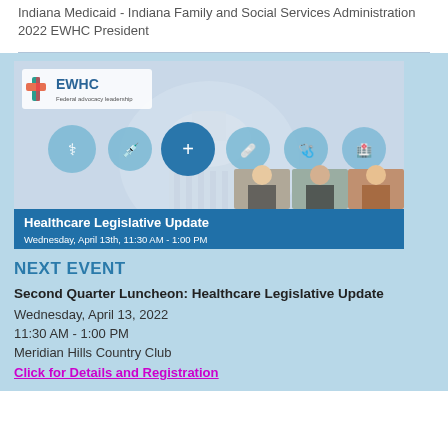Indiana Medicaid - Indiana Family and Social Services Administration
2022 EWHC President
[Figure (photo): EWHC Healthcare Legislative Update event banner with US Capitol building background, healthcare icons, photos of three women speakers, blue bar with text: Healthcare Legislative Update, Wednesday, April 13th, 11:30 AM - 1:00 PM]
NEXT EVENT
Second Quarter Luncheon: Healthcare Legislative Update
Wednesday, April 13, 2022
11:30 AM - 1:00 PM
Meridian Hills Country Club
Click for Details and Registration